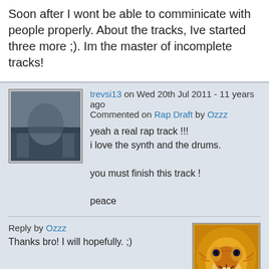Soon after I wont be able to comminicate with people properly. About the tracks, Ive started three more ;). Im the master of incomplete tracks!
trevsi13 on Wed 20th Jul 2011 - 11 years ago
Commented on Rap Draft by Ozzz
yeah a real rap track !!!
i love the synth and the drums.

you must finish this track !

peace
Reply by Ozzz
Thanks bro! I will hopefully. ;)